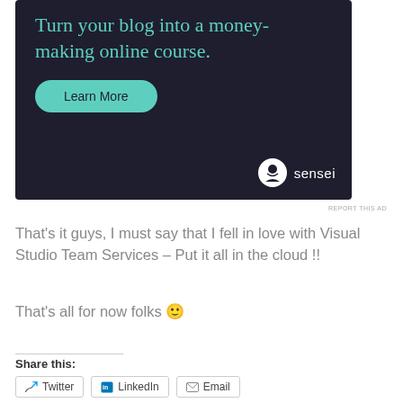[Figure (screenshot): Advertisement banner with dark background showing 'Turn your blog into a money-making online course.' with a teal 'Learn More' button and Sensei branding logo and text at bottom right]
REPORT THIS AD
That's it guys, I must say that I fell in love with Visual Studio Team Services – Put it all in the cloud !!
That's all for now folks 🙂
Share this:
Twitter
LinkedIn
Email